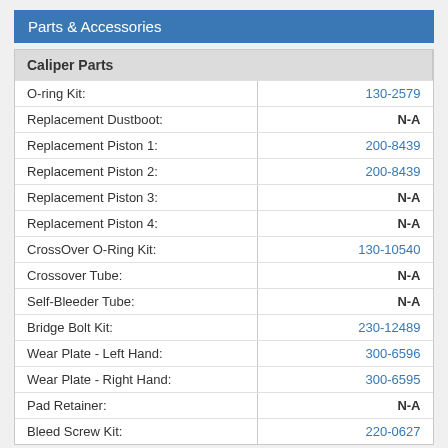Parts & Accessories
| Caliper Parts |  |
| --- | --- |
| O-ring Kit: | 130-2579 |
| Replacement Dustboot: | N-A |
| Replacement Piston 1: | 200-8439 |
| Replacement Piston 2: | 200-8439 |
| Replacement Piston 3: | N-A |
| Replacement Piston 4: | N-A |
| CrossOver O-Ring Kit: | 130-10540 |
| Crossover Tube: | N-A |
| Self-Bleeder Tube: | N-A |
| Bridge Bolt Kit: | 230-12489 |
| Wear Plate - Left Hand: | 300-6596 |
| Wear Plate - Right Hand: | 300-6595 |
| Pad Retainer: | N-A |
| Bleed Screw Kit: | 220-0627 |
Brake Lines